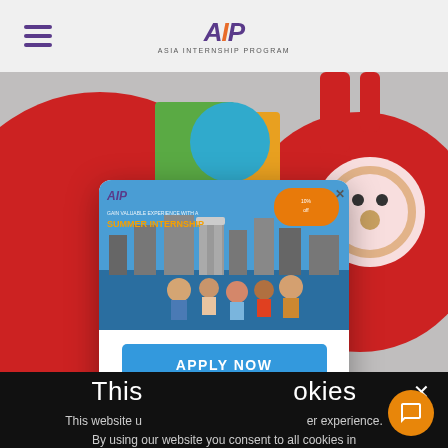AIP - Asia Internship Program
[Figure (screenshot): AIP website screenshot showing colorful background with cartoon characters, a popup modal advertising Summer Internship with APPLY NOW button and discount code SUMMER2022, and cookie consent banner at bottom]
APPLY NOW
CODE: SUMMER2022
This website uses cookies to improve your user experience. By using our website you consent to all cookies in accordance with our Cookie Privacy Policy.